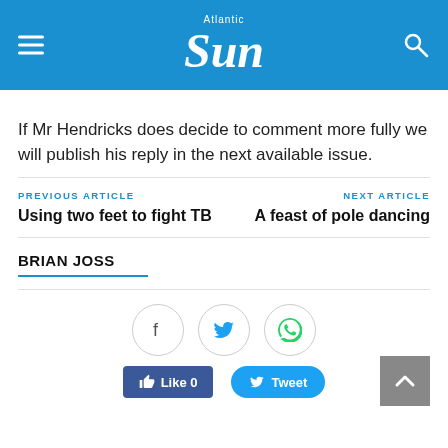Atlantic Sun
If Mr Hendricks does decide to comment more fully we will publish his reply in the next available issue.
PREVIOUS ARTICLE
Using two feet to fight TB
NEXT ARTICLE
A feast of pole dancing
BRIAN JOSS
[Figure (other): Social share buttons: Facebook circle icon, Twitter circle icon, WhatsApp circle icon, Like 0 button, Tweet button, scroll-to-top button]